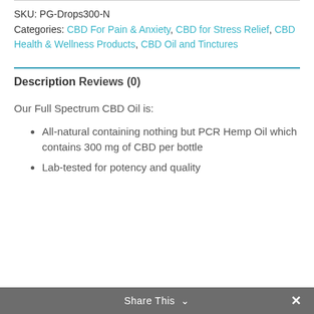SKU: PG-Drops300-N
Categories: CBD For Pain & Anxiety, CBD for Stress Relief, CBD Health & Wellness Products, CBD Oil and Tinctures
Description
Reviews (0)
Our Full Spectrum CBD Oil is:
All-natural containing nothing but PCR Hemp Oil which contains 300 mg of CBD per bottle
Lab-tested for potency and quality
Share This ∨  ✕